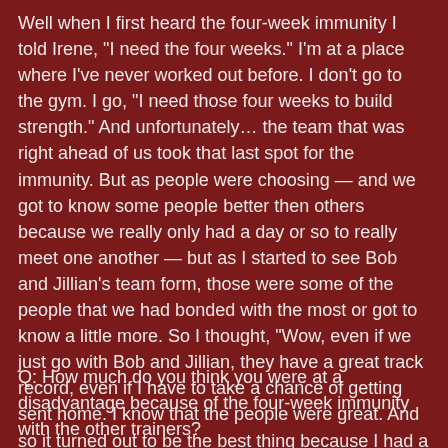Well when I first heard the four-week immunity I told Irene, "I need the four weeks." I'm at a place where I've never worked out before. I don't go to the gym. I go, "I need those four weeks to build strength." And unfortunately… the team that was right ahead of us took that last spot for the immunity. But as people were choosing — and we got to know some people better then others because we really only had a day or so to really meet one another — but as I started to see Bob and Jillian's team form, those were some of the people that we had bonded with the most or got to know a little more. So I thought, "Wow, even if we just go with Bob and Jillian, they have a great track record, even if I have to take a chance of getting sent home. I know that the people were great. And so it turned out to be the best thing because I had a great time there and the people that were there with us at the ranch were just great. I feel like I have a family there with them.
Q: How much do you think you were at a disadvantage because of the four-week immunity with the other trainers?